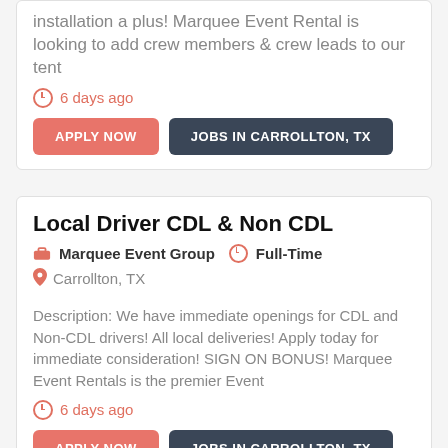installation a plus! Marquee Event Rental is looking to add crew members & crew leads to our tent
6 days ago
APPLY NOW
JOBS IN CARROLLTON, TX
Local Driver CDL & Non CDL
Marquee Event Group  Full-Time
Carrollton, TX
Description: We have immediate openings for CDL and Non-CDL drivers! All local deliveries! Apply today for immediate consideration! SIGN ON BONUS! Marquee Event Rentals is the premier Event
6 days ago
APPLY NOW
JOBS IN CARROLLTON, TX